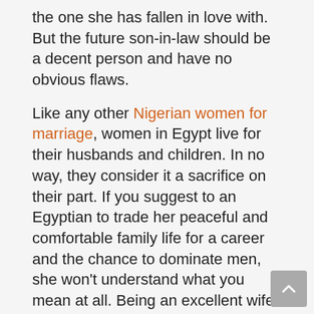the one she has fallen in love with. But the future son-in-law should be a decent person and have no obvious flaws.
Like any other Nigerian women for marriage, women in Egypt live for their husbands and children. In no way, they consider it a sacrifice on their part. If you suggest to an Egyptian to trade her peaceful and comfortable family life for a career and the chance to dominate men, she won't understand what you mean at all. Being an excellent wife and mother is quite enough for an Egypt girl for marriage.
Arab men say that a husband's success always depends on his wife, as man is the head of the family and woman is the neck that turns the head. When a man feels tired after working long hours, he expects his soulmate to show her feelings towards him: love, tenderness, care, and understanding. Such a woman is always desired by her man. A husband forgets about